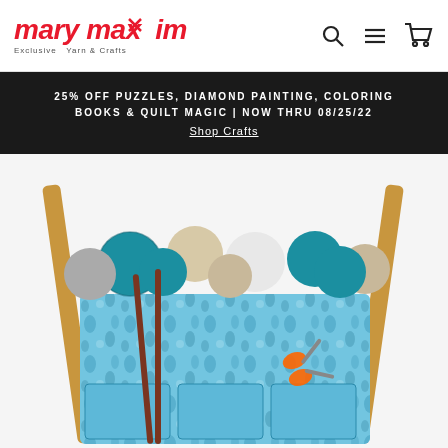[Figure (logo): Mary Maxim logo — red italic bold text reading 'mary maxim' with a tagline 'Exclusive Yarn & Crafts']
[Figure (screenshot): Navigation icons: search magnifier, hamburger menu, and shopping cart]
25% OFF PUZZLES, DIAMOND PAINTING, COLORING BOOKS & QUILT MAGIC | NOW THRU 08/25/22
Shop Crafts
[Figure (photo): A blue floral fabric knitting/craft bag on a wooden stand, filled with balls of teal, beige, white, and grey yarn, with wooden knitting needles and orange scissors visible in pockets.]